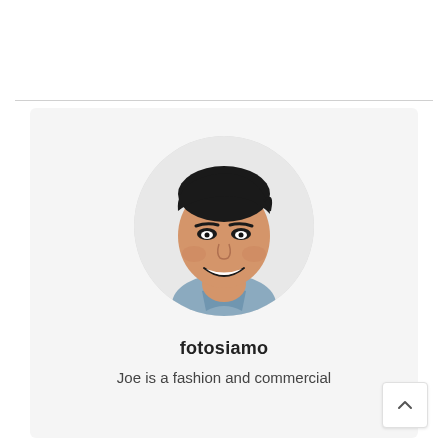[Figure (photo): Circular profile photo of a smiling Asian man wearing a blue shirt, on a light gray background card]
fotosiamo
Joe is a fashion and commercial